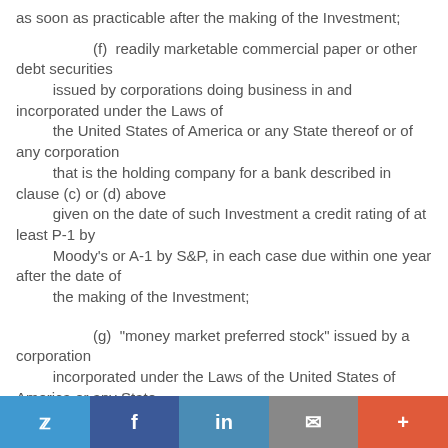as soon as practicable after the making of the Investment;
(f)  readily marketable commercial paper or other debt securities issued by corporations doing business in and incorporated under the Laws of the United States of America or any State thereof or of any corporation that is the holding company for a bank described in clause (c) or (d) above given on the date of such Investment a credit rating of at least P-1 by Moody's or A-1 by S&P, in each case due within one year after the date of the making of the Investment;
(g)  "money market preferred stock" issued by a corporation incorporated under the Laws of the United States of America or any State thereof (i) given on the date of such Investment a credit rating
Twitter Facebook LinkedIn Email +